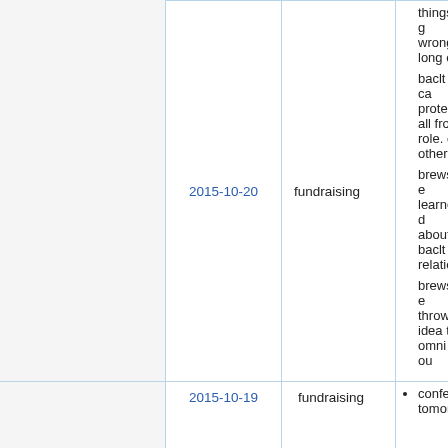|  | Date | Type | Notes |
| --- | --- | --- | --- |
|  | 2015-10-20 | fundraising | things g wrong, long of • baclt ca protect all from role. ca other c • brewste learned about c baclt relation • brewste throwin idea to omni ou |
|  | 2015-10-19 | fundraising | confere tomorro |